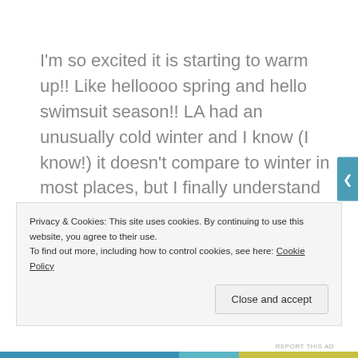I'm so excited it is starting to warm up!! Like helloooo spring and hello swimsuit season!! LA had an unusually cold winter and I know (I know!) it doesn't compare to winter in most places, but I finally understand why the start of spring is such a magical time of year!
I'm currently purging my closet of the things I haven't
Privacy & Cookies: This site uses cookies. By continuing to use this website, you agree to their use.
To find out more, including how to control cookies, see here: Cookie Policy
Close and accept